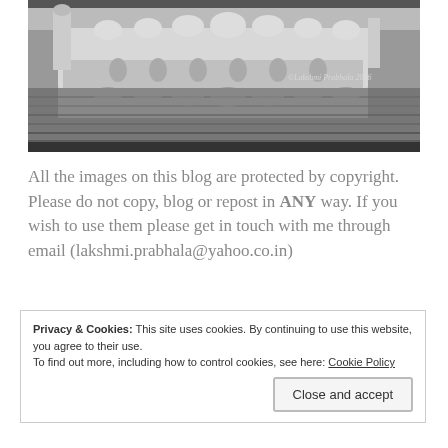[Figure (photo): Black and white photograph of an ornate Indian palace or temple reflected in water, with decorative domes and arches visible, watermarked '©Lakshmi Prabhala 2016']
All the images on this blog are protected by copyright. Please do not copy, blog or repost in ANY way. If you wish to use them please get in touch with me through email (lakshmi.prabhala@yahoo.co.in)
Privacy & Cookies: This site uses cookies. By continuing to use this website, you agree to their use.
To find out more, including how to control cookies, see here: Cookie Policy
Close and accept